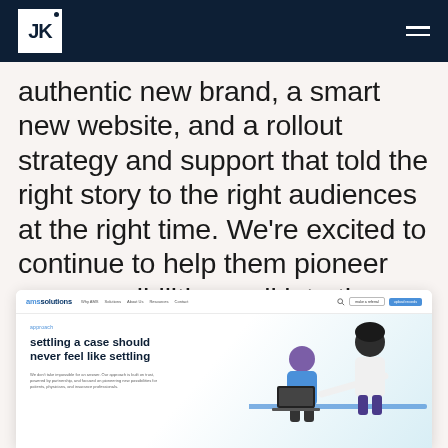JK [logo] navigation bar
authentic new brand, a smart new website, and a rollout strategy and support that told the right story to the right audiences at the right time. We're excited to continue to help them pioneer new possibilities well into the future.
[Figure (screenshot): Screenshot of the AMS Solutions website homepage showing navigation bar with logo, menu items (Why AMS, Solutions, About Us, Resources, Contact), search icon, and two CTA buttons. Below the nav is a hero section with the headline 'settling a case should never feel like settling' with body text and an illustration of two people working at a desk/laptop on the right side.]